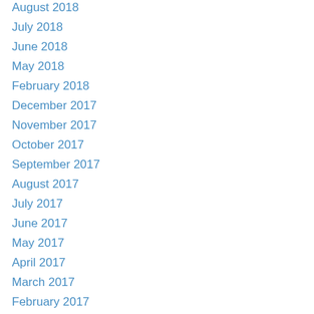August 2018
July 2018
June 2018
May 2018
February 2018
December 2017
November 2017
October 2017
September 2017
August 2017
July 2017
June 2017
May 2017
April 2017
March 2017
February 2017
January 2017
December 2016
November 2016
October 2016